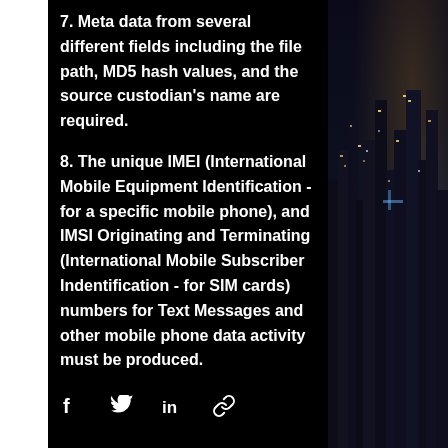7. Meta data from several different fields including the file path, MD5 hash values, and the source custodian's name are required.
8. The unique IMEI (International Mobile Equipment Identification - for a specific mobile phone), and IMSI Originating and Terminating (International Mobile Subscriber Indentification - for SIM cards) numbers for Text Messages and other mobile phone data activity must be produced.
[Figure (photo): Night cityscape photo showing illuminated skyscrapers and city lights, visible on the right side of the page.]